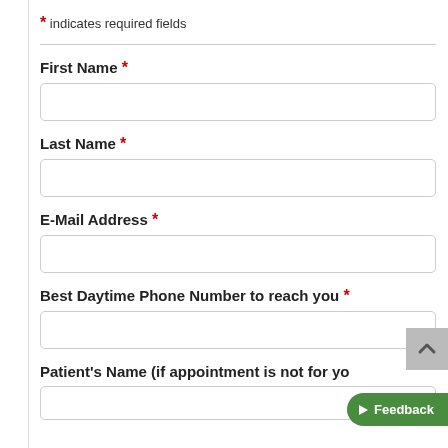* indicates required fields
First Name *
Last Name *
E-Mail Address *
Best Daytime Phone Number to reach you *
Patient's Name (if appointment is not for yo...